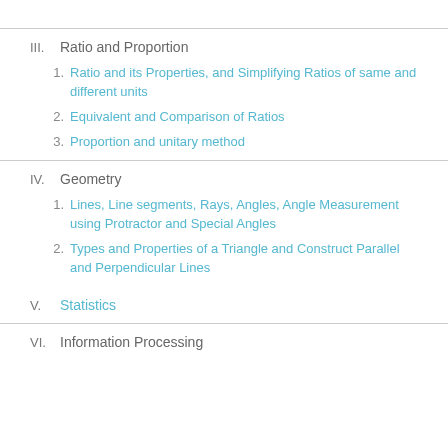III.  Ratio and Proportion
1.  Ratio and its Properties, and Simplifying Ratios of same and different units
2.  Equivalent and Comparison of Ratios
3.  Proportion and unitary method
IV.  Geometry
1.  Lines, Line segments, Rays, Angles, Angle Measurement using Protractor and Special Angles
2.  Types and Properties of a Triangle and Construct Parallel and Perpendicular Lines
V.  Statistics
VI.  Information Processing